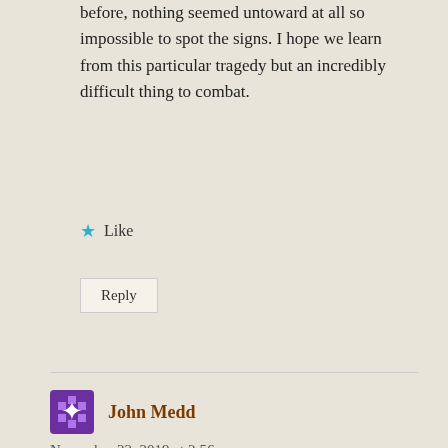before, nothing seemed untoward at all so impossible to spot the signs. I hope we learn from this particular tragedy but an incredibly difficult thing to combat.
★ Like
Reply
John Medd
November 22, 2019 at 2:56 pm
Such a perfect song to end such a short life. I'm getting quite teary writing this and I didn't even know her…